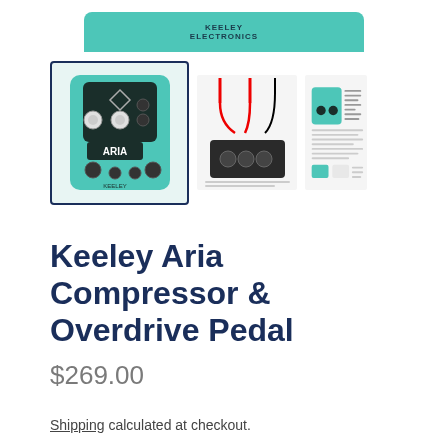[Figure (photo): Top portion of teal/turquoise Keeley Electronics product box visible at top of page]
[Figure (photo): Three product thumbnail images: main selected image of Keeley Aria Compressor & Overdrive guitar pedal (teal color with knobs), a wiring/connection diagram, and a small instruction sheet]
Keeley Aria Compressor & Overdrive Pedal
$269.00
Shipping calculated at checkout.